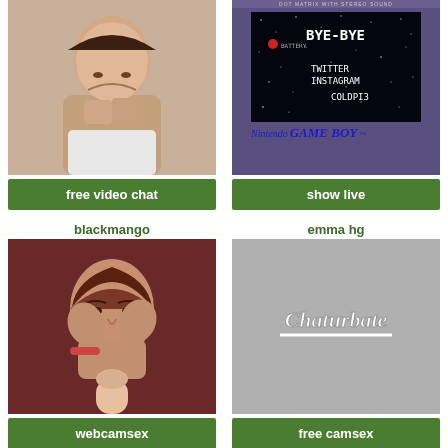[Figure (photo): Top-left: photo of a person]
free video chat
[Figure (photo): Top-right: Nintendo Game Boy screen showing BYE-BYE, TWITTER INSTAGRAM COLDPI3]
show live
blackmango
emma hg
[Figure (photo): Bottom-left: webcam photo of a person]
[Figure (photo): Bottom-right: Chaturbate logo placeholder]
webcamsex
free camsex